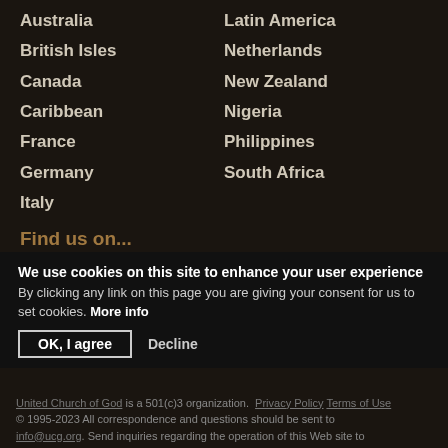Australia
Latin America
British Isles
Netherlands
Canada
New Zealand
Caribbean
Nigeria
France
Philippines
Germany
South Africa
Italy
Find us on...
Beyond Today on Roku
Twitter
United Church of God on Roku
Google+
Pinterest
Facebook
We use cookies on this site to enhance your user experience By clicking any link on this page you are giving your consent for us to set cookies. More info
United Church of God is a 501(c)3 organization. Privacy Policy Terms of Use © 1995-2023 All correspondence and questions should be sent to info@ucg.org. Send inquiries regarding the operation of this Web site to